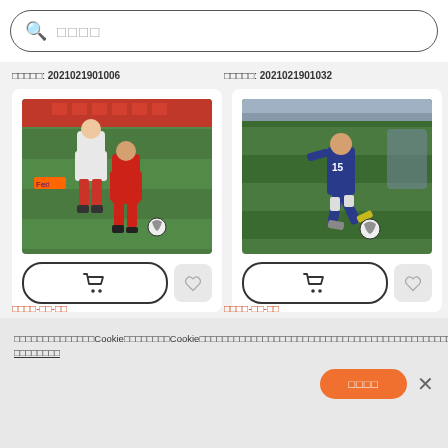□□□□
□□□□□: 2021021901006
□□□□□: 2021021901032
[Figure (photo): Soccer players in red and white uniforms competing for the ball on a green field]
[Figure (photo): Soccer player in blue uniform kicking a ball on a green field]
□□□□-□□-□□
□□□□-□□-□□
□□□□□□□□□□□□□□Cookie□□□□□□□□Cookie□□□□□□□□□□□□□□□□□□□□□□□□□□□□□□□□□□□□□□□□□□□□□□□□□□□□□□□□□□□□□□□□□Cookie□□□□□□□□□□□□□□□□□□ □□□□□□□□